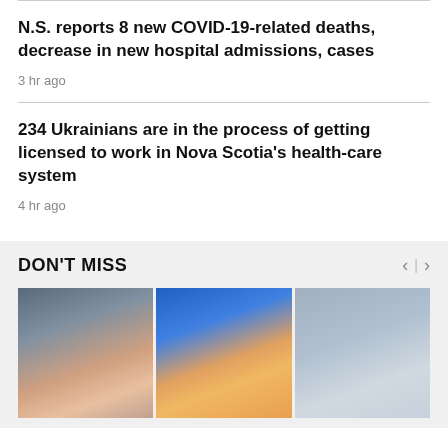N.S. reports 8 new COVID-19-related deaths, decrease in new hospital admissions, cases
3 hr ago
234 Ukrainians are in the process of getting licensed to work in Nova Scotia's health-care system
4 hr ago
DON'T MISS
[Figure (photo): Three thumbnail photos in a horizontal row for a 'Don't Miss' news carousel. Left: person in dark cap looking down. Middle: hand with purple nails holding a hot dog. Right: person in grey winter hat.]